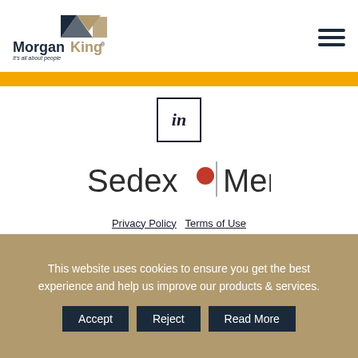[Figure (logo): MorganKing logo with geometric shapes and tagline 'It's all about people']
[Figure (logo): Hamburger menu icon (three horizontal bars)]
[Figure (other): Orange horizontal bar divider]
[Figure (logo): LinkedIn 'in' icon in a square border]
[Figure (logo): Sedex Member logo with red circle accent and vertical divider]
Privacy Policy   Terms of Use
2022 Copyright - Morgan King - All Rights
This website uses cookies to ensure you get the best experience and help us improve our products & services.
Accept   Reject   Read More